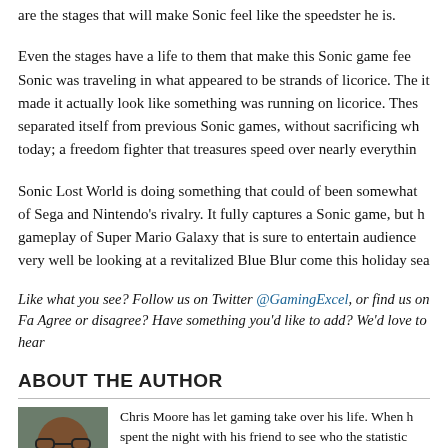are the stages that will make Sonic feel like the speedster he is.
Even the stages have a life to them that make this Sonic game fee Sonic was traveling in what appeared to be strands of licorice. The it made it actually look like something was running on licorice. These separated itself from previous Sonic games, without sacrificing wh today; a freedom fighter that treasures speed over nearly everythin
Sonic Lost World is doing something that could of been somewhat of Sega and Nintendo's rivalry. It fully captures a Sonic game, but h gameplay of Super Mario Galaxy that is sure to entertain audience very well be looking at a revitalized Blue Blur come this holiday sea
Like what you see? Follow us on Twitter @GamingExcel, or find us on Fa Agree or disagree? Have something you'd like to add? We'd love to hear
ABOUT THE AUTHOR
Chris Moore has let gaming take over his life. When h spent the night with his friend to see who the statistic was. (Chris is by 62%) It has also almost gotten into tr he almost got grounded for being out around town a